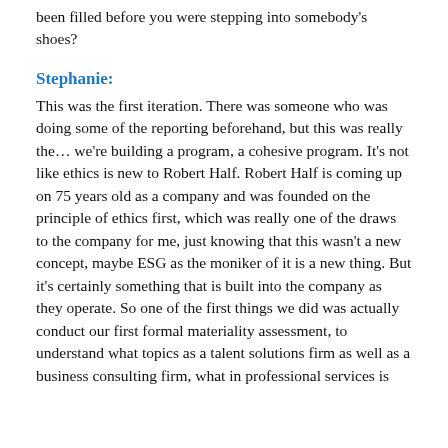been filled before you were stepping into somebody's shoes?
Stephanie:
This was the first iteration. There was someone who was doing some of the reporting beforehand, but this was really the… we're building a program, a cohesive program. It's not like ethics is new to Robert Half. Robert Half is coming up on 75 years old as a company and was founded on the principle of ethics first, which was really one of the draws to the company for me, just knowing that this wasn't a new concept, maybe ESG as the moniker of it is a new thing. But it's certainly something that is built into the company as they operate. So one of the first things we did was actually conduct our first formal materiality assessment, to understand what topics as a talent solutions firm as well as a business consulting firm, what in professional services is